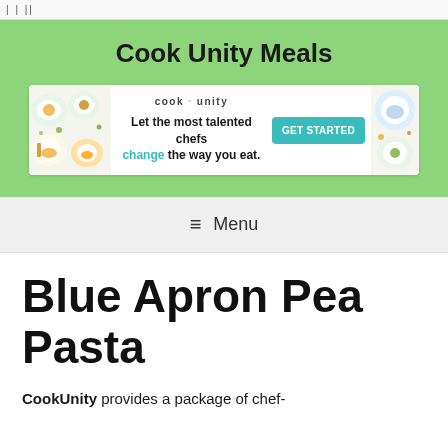|||
Cook Unity Meals
[Figure (screenshot): CookUnity advertisement banner with food images, logo, tagline 'Let the most talented chefs change the way you eat.' and a teal GET STARTED button]
≡ Menu
Blue Apron Pea Pasta
CookUnity provides a package of chef-